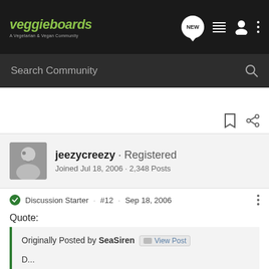veggieboards - A Vegetarian & Vegan Community
Search Community
jeezycreezy · Registered
Joined Jul 18, 2006 · 2,348 Posts
Discussion Starter · #12 · Sep 18, 2006
Quote:
Originally Posted by SeaSiren   View Post